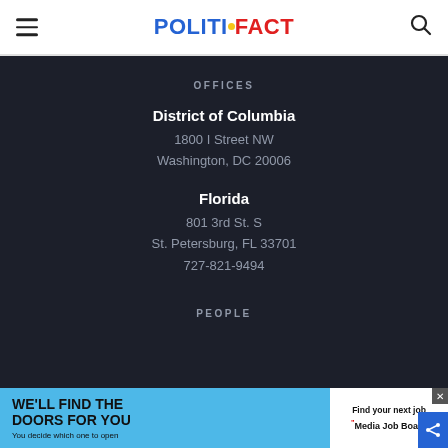POLITIFACT
OFFICES
District of Columbia
1800 I Street NW
Washington, DC 20006
Florida
801 3rd St. S
St. Petersburg, FL 33701
727-821-9494
PEOPLE
[Figure (screenshot): Advertisement banner: 'WE'LL FIND THE DOORS FOR YOU - You decide which one to open' on blue background, with 'Find your next job - Media Job Board' on white background]